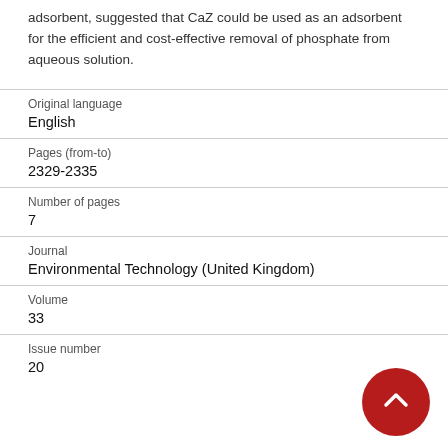adsorbent, suggested that CaZ could be used as an adsorbent for the efficient and cost-effective removal of phosphate from aqueous solution.
| Field | Value |
| --- | --- |
| Original language | English |
| Pages (from-to) | 2329-2335 |
| Number of pages | 7 |
| Journal | Environmental Technology (United Kingdom) |
| Volume | 33 |
| Issue number | 20 |